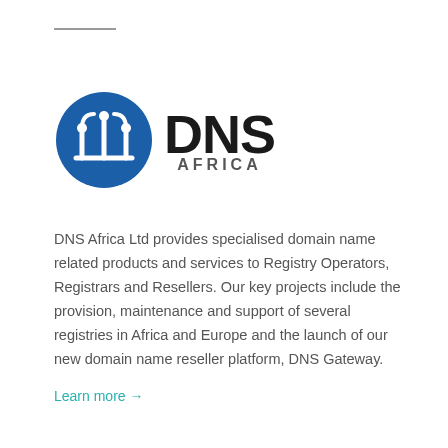[Figure (logo): DNS Africa logo: blue circle with circuit/antenna icon on the left, and 'DNS AFRICA' text in bold black on the right]
DNS Africa Ltd provides specialised domain name related products and services to Registry Operators, Registrars and Resellers. Our key projects include the provision, maintenance and support of several registries in Africa and Europe and the launch of our new domain name reseller platform, DNS Gateway.
Learn more →